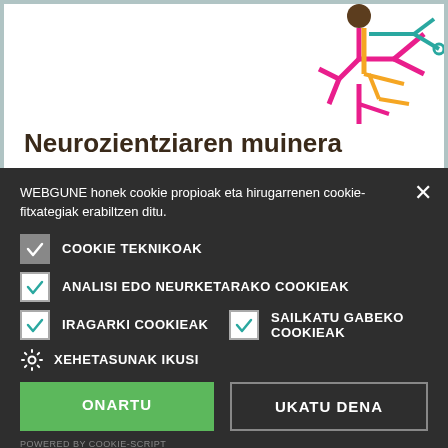[Figure (screenshot): Website page showing a neuroscience article with colorful tree/network graphic in top right corner]
Neurozientziaren muinera
2015-3-7  Zientzia
WEBGUNE honek cookie propioak eta hirugarrenen cookie-fitxategiak erabiltzen ditu.
COOKIE TEKNIKOAK
ANALISI EDO NEURKETARAKO COOKIEAK
IRAGARKI COOKIEAK
SAILKATU GABEKO COOKIEAK
XEHETASUNAK IKUSI
ONARTU
UKATU DENA
POWERED BY COOKIE-SCRIPT